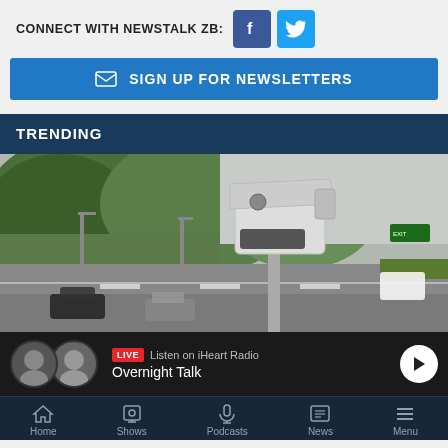CONNECT WITH NEWSTALK ZB:
[Figure (other): Facebook icon button (blue square with white 'f')]
[Figure (other): Twitter icon button (blue square with white bird)]
SIGN UP FOR NEWSLETTERS
TRENDING
[Figure (photo): Speed camera on a motorway with cars passing, green hillside in background]
LIVE  Listen on iHeart Radio
Overnight Talk
Home  Shows  Podcasts  News  Menu